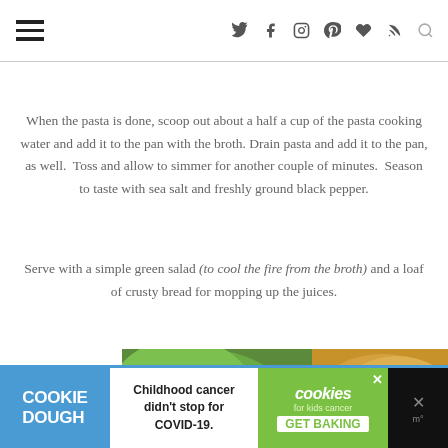navigation header with hamburger menu and social icons
When the pasta is done, scoop out about a half a cup of the pasta cooking water and add it to the pan with the broth. Drain pasta and add it to the pan, as well. Toss and allow to simmer for another couple of minutes. Season to taste with sea salt and freshly ground black pepper.
Serve with a simple green salad (to cool the fire from the broth) and a loaf of crusty bread for mopping up the juices.
[Figure (photo): Food photo showing a green salad with leafy greens in a white bowl and crusty bread rolls]
[Figure (other): Advertisement banner for COOKIE DOUGH - Childhood cancer didn't stop for COVID-19 - cookies for kids cancer - GET BAKING]